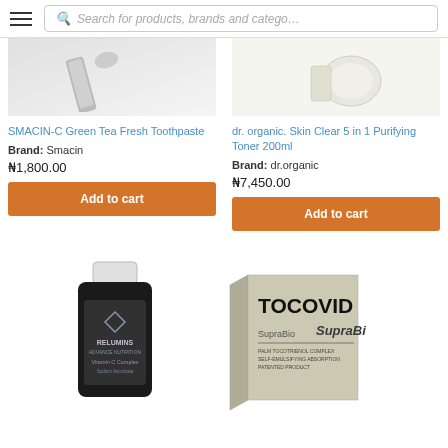Search for products, brands and categories
[Figure (photo): SMACIN-C Green Tea Fresh Toothpaste product image]
SMACIN-C Green Tea Fresh Toothpaste
Brand: Smacin
₦1,800.00
Add to cart
[Figure (photo): dr. organic. Skin Clear 5 in 1 Purifying Toner 200ml product image]
dr. organic. Skin Clear 5 in 1 Purifying Toner 200ml
Brand: dr.organic
₦7,450.00
Add to cart
[Figure (photo): Relumins Vitamin C Complex supplement bottle]
[Figure (photo): TOCOVID SupraBio product box]